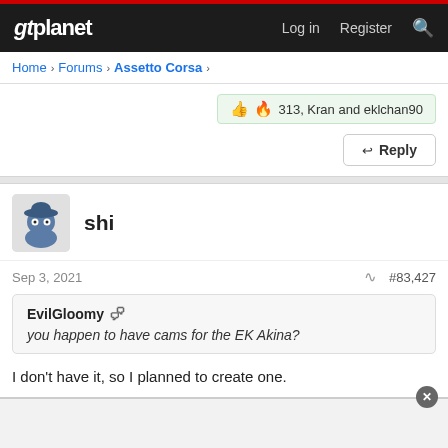gtplanet | Log in  Register
Home > Forums > Assetto Corsa >
👍🔥 313, Kran and eklchan90
↩ Reply
shi
Sep 3, 2021   #83,427
EvilGloomy 💬
you happen to have cams for the EK Akina?
I don't have it, so I planned to create one.